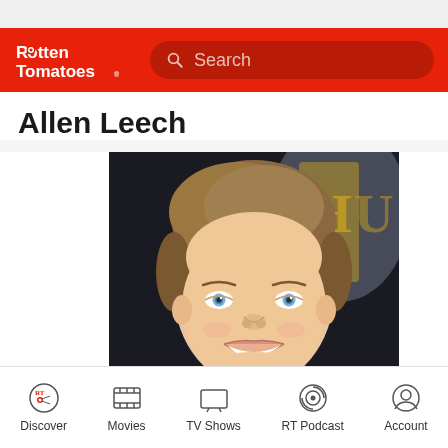[Figure (logo): Rotten Tomatoes logo with search bar on red background header]
Allen Leech
[Figure (photo): Headshot photo of Allen Leech, smiling, brown hair, blue eyes, wearing dark clothing, in front of a dark background with yellow letters]
Discover  Movies  TV Shows  RT Podcast  Account